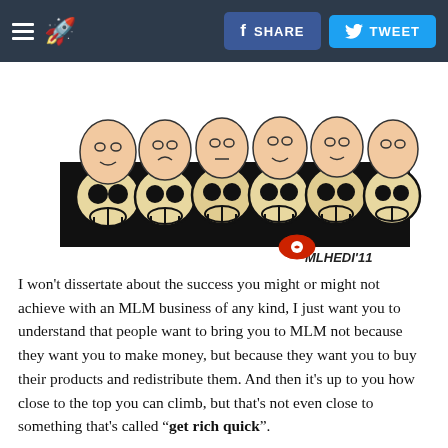SHARE | TWEET
[Figure (illustration): Cartoon illustration of skull figures with human faces on top, arranged in a row against a black background, signed 'MLHEDI'11' with a red oval logo]
I won't dissertate about the success you might or might not achieve with an MLM business of any kind, I just want you to understand that people want to bring you to MLM not because they want you to make money, but because they want you to buy their products and redistribute them. And then it's up to you how close to the top you can climb, but that's not even close to something that's called "get rich quick".